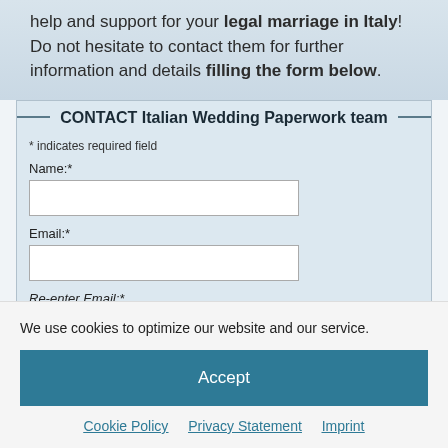help and support for your legal marriage in Italy! Do not hesitate to contact them for further information and details filling the form below.
CONTACT Italian Wedding Paperwork team
* indicates required field
Name:*
Email:*
Re-enter Email:*
We use cookies to optimize our website and our service.
Accept
Cookie Policy   Privacy Statement   Imprint